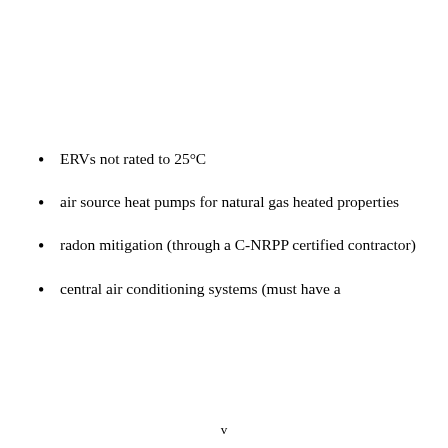ERVs not rated to 25°C
air source heat pumps for natural gas heated properties
radon mitigation (through a C-NRPP certified contractor)
central air conditioning systems (must have a
v